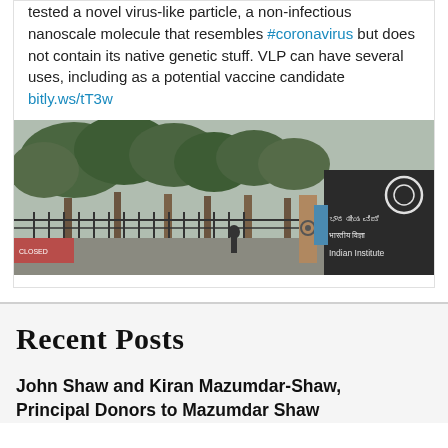tested a novel virus-like particle, a non-infectious nanoscale molecule that resembles #coronavirus but does not contain its native genetic stuff. VLP can have several uses, including as a potential vaccine candidate bitly.ws/tT3w
[Figure (photo): Entrance gate of the Indian Institute of Science (IISc) in Bengaluru, showing trees, iron gate, and signage in Kannada, Hindi, and English reading 'Indian Institute']
Recent Posts
John Shaw and Kiran Mazumdar-Shaw, Principal Donors to Mazumdar Shaw